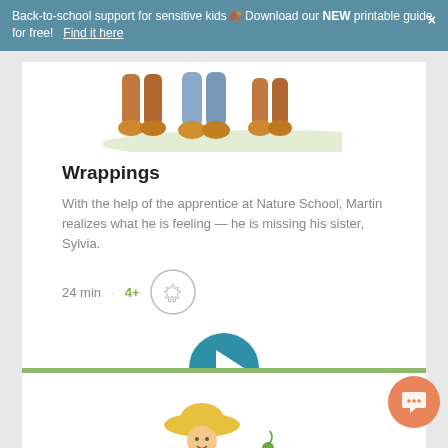Back-to-school support for sensitive kids— Download our NEW printable guide for free!  Find it here
[Figure (illustration): Partial illustration showing children's lower bodies (legs and boots) in an outdoor/nature setting with green grass]
Wrappings
With the help of the apprentice at Nature School, Martin realizes what he is feeling — he is missing his sister, Sylvia.
24 min  ·  4+
[Figure (other): Maple leaf icon inside a circle (Canadian/nature theme badge)]
[Figure (other): Large teal circular play button with white triangle arrow]
[Figure (illustration): Partial illustration at bottom of page showing a girl with a hat holding a small plant]
[Figure (other): Orange circular chat/support button in bottom-right corner]